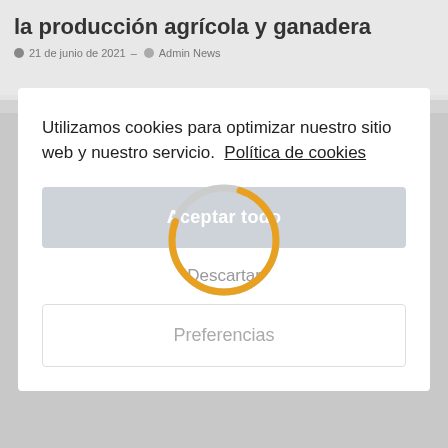la producción agrícola y ganadera
21 de junio de 2021 – Admin News
Utilizamos cookies para optimizar nuestro sitio web y nuestro servicio.  Política de cookies
Aceptar todo
Descartar
Preferencias